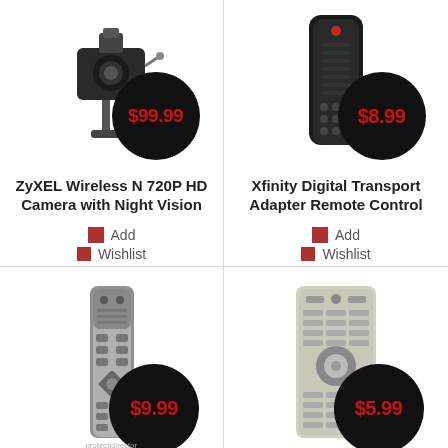[Figure (photo): ZyXEL Wireless N 720P HD camera product photo with $99.99 price bubble]
[Figure (photo): Xfinity Digital Transport Adapter Remote Control product photo with $8.99 price bubble]
ZyXEL Wireless N 720P HD Camera with Night Vision
Add
Wishlist
Xfinity Digital Transport Adapter Remote Control
Add
Wishlist
[Figure (photo): Slim silver remote control product photo with $9.99 price bubble]
[Figure (photo): Large universal remote control product photo with $5.99 price bubble]